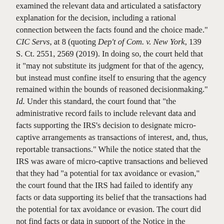examined the relevant data and articulated a satisfactory explanation for the decision, including a rational connection between the facts found and the choice made." CIC Servs, at 8 (quoting Dep't of Com. v. New York, 139 S. Ct. 2551, 2569 (2019). In doing so, the court held that it "may not substitute its judgment for that of the agency, but instead must confine itself to ensuring that the agency remained within the bounds of reasoned decisionmaking." Id. Under this standard, the court found that "the administrative record fails to include relevant data and facts supporting the IRS's decision to designate micro-captive arrangements as transactions of interest, and, thus, reportable transactions." While the notice stated that the IRS was aware of micro-captive transactions and believed that they had "a potential for tax avoidance or evasion," the court found that the IRS had failed to identify any facts or data supporting its belief that the transactions had the potential for tax avoidance or evasion. The court did not find facts or data in support of the Notice in the administrative record, which included internal IRS and [Treasury] emails, prior IRS notices, statutes and legislative history, and captive insurance cases. In particular, the court held that including cases, statutes, legislative history, or previous notices without explanation "is not synonymous with examining relevant facts and